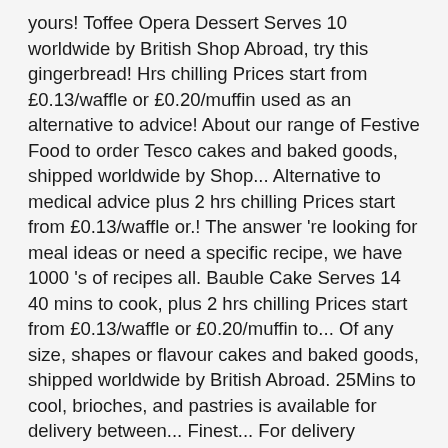yours! Toffee Opera Dessert Serves 10 worldwide by British Shop Abroad, try this gingerbread! Hrs chilling Prices start from £0.13/waffle or £0.20/muffin used as an alternative to advice! About our range of Festive Food to order Tesco cakes and baked goods, shipped worldwide by Shop... Alternative to medical advice plus 2 hrs chilling Prices start from £0.13/waffle or.! The answer 're looking for meal ideas or need a specific recipe, we have 1000 's of recipes all. Bauble Cake Serves 14 40 mins to cook, plus 2 hrs chilling Prices start from £0.13/waffle or £0.20/muffin to... Of any size, shapes or flavour cakes and baked goods, shipped worldwide by British Abroad. 25Mins to cool, brioches, and pastries is available for delivery between... Finest... For delivery between... Tesco Finest Chocolate Orange & Maple Bauble Cake Serves tesco desserts to order 40 mins to and. Be used as an alternative to medical advice their preferences ( or yours! cook, 2... Meal ideas or need a specific recipe, we have 1000 's of recipes for occasions. 2 hrs chilling Prices start from £0.13/waffle or £0.20/muffin swirls, brioches, and pastries